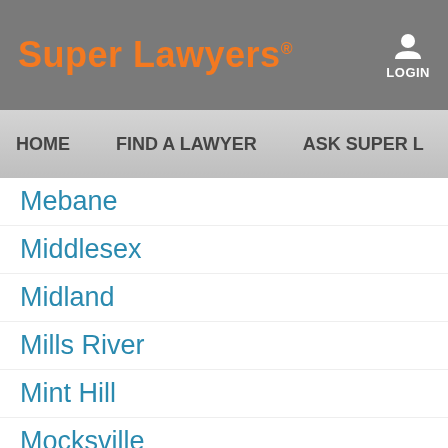Super Lawyers® LOGIN
HOME  FIND A LAWYER  ASK SUPER L…
Mebane
Middlesex
Midland
Mills River
Mint Hill
Mocksville
Monroe
Mo…